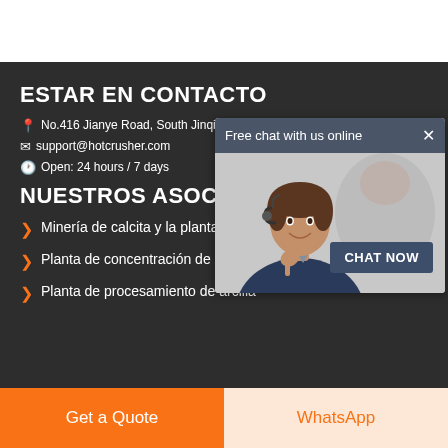ESTAR EN CONTACTO
No.416 Jianye Road, South Jinqiao Area, Pudong, Shanghai, China
support@hotcrusher.com
Open: 24 hours / 7 days
NUESTROS ASOCIADOS
Minería de calcita y la planta de procesamiento
Planta de concentración de mineral de oro
Planta de procesamiento de arcilla
[Figure (screenshot): Chat popup overlay showing 'Free chat with us online' header with an X close button, a customer service representative photo, and a dark blue 'CHAT NOW' button]
Get a Quote
WhatsApp